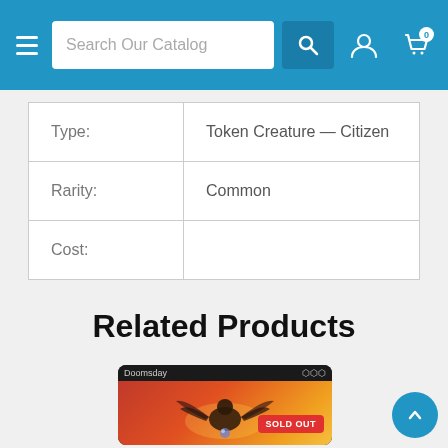Search Our Catalog — navigation bar
| Field | Value |
| --- | --- |
| Type: | Token Creature — Citizen |
| Rarity: | Common |
| Cost: |  |
Related Products
[Figure (photo): Doomsday Magic: The Gathering card with red/orange art showing a creature. Badge reads SOLD OUT.]